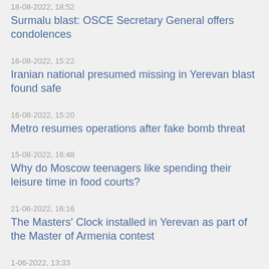18-08-2022, 18:52
Surmalu blast: OSCE Secretary General offers condolences
16-08-2022, 15:22
Iranian national presumed missing in Yerevan blast found safe
16-08-2022, 15:20
Metro resumes operations after fake bomb threat
15-08-2022, 16:48
Why do Moscow teenagers like spending their leisure time in food courts?
21-06-2022, 16:16
The Masters' Clock installed in Yerevan as part of the Master of Armenia contest
1-06-2022, 13:33
Nominations Now Open for 2023 Aurora Prize